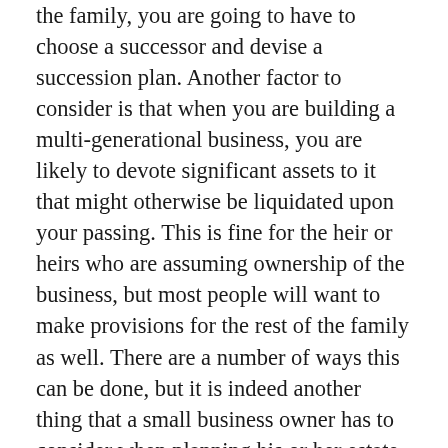the family, you are going to have to choose a successor and devise a succession plan. Another factor to consider is that when you are building a multi-generational business, you are likely to devote significant assets to it that might otherwise be liquidated upon your passing. This is fine for the heir or heirs who are assuming ownership of the business, but most people will want to make provisions for the rest of the family as well. There are a number of ways this can be done, but it is indeed another thing that a small business owner has to consider when planning his or her estate.
If you decide that you want to put the